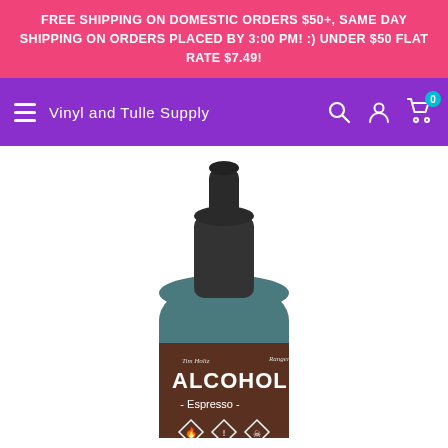FREE SHIPPING ON DOMESTIC ORDERS $50+, SAME DAY SHIPPING ON ORDERS PLACED BY 3:00 PM! :) UNDER $50 FLAT RATE $7.49!
Vinyl and Tulle Supply
[Figure (photo): Product photo of Tim Holtz Alcohol Ink in Espresso color, a small dark-teal bottle with a black dropper cap, showing the Ranger brand label with hazard diamond symbols at the bottom.]